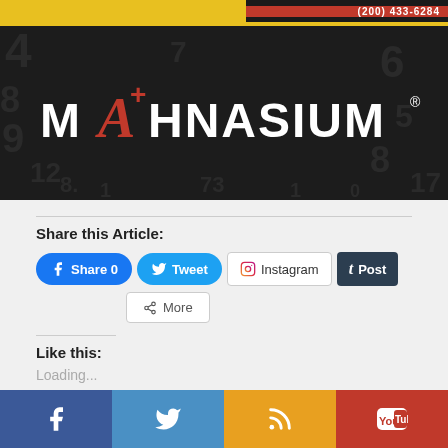[Figure (logo): Mathnasium logo banner with dark background and scattered numbers]
Share this Article:
[Figure (infographic): Social share buttons: Facebook Share 0, Tweet, Instagram, Post (Tumblr), More]
Like this:
Loading...
Related
[Figure (infographic): Footer social media bar with Facebook, Twitter, RSS, and YouTube icons]